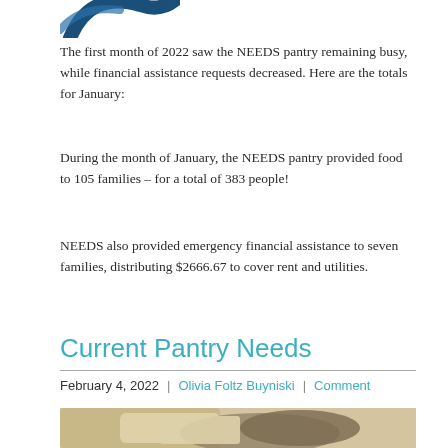[Figure (logo): Partial logo with blue curved swoosh shape visible at top left]
The first month of 2022 saw the NEEDS pantry remaining busy, while financial assistance requests decreased. Here are the totals for January:
During the month of January, the NEEDS pantry provided food to 105 families – for a total of 383 people!
NEEDS also provided emergency financial assistance to seven families, distributing $2666.67 to cover rent and utilities.
Current Pantry Needs
February 4, 2022  |  Olivia Foltz Buyniski  |  Comment
[Figure (photo): Partial photo of grocery bags at the bottom of the page]